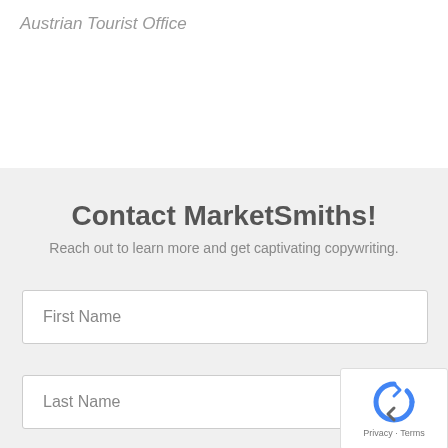Austrian Tourist Office
Contact MarketSmiths!
Reach out to learn more and get captivating copywriting.
First Name
Last Name